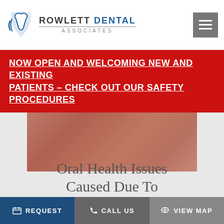Rowlett Dental Associates
NOW OPEN AND WELCOMING NEW AND EXISTING PATIENTS – CHECK OUT OUR SAFETY PROCEDURES
[Figure (photo): Close-up photo of reddish-brown surface, likely gum tissue or oral health related image]
Oral Health Issues Caused Due To Misaligned Teeth
REQUEST  CALL US  VIEW MAP